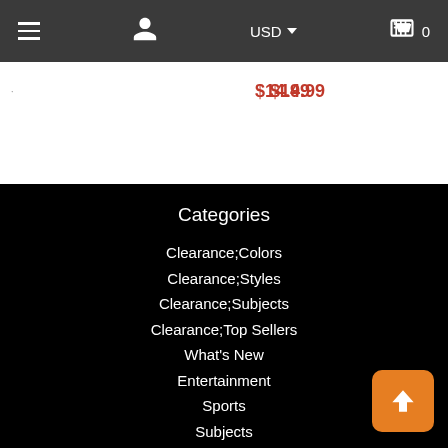[Figure (screenshot): Navigation header bar with hamburger menu, user icon, USD currency selector, and shopping cart with count 0]
$14.99
$32.83
Categories
Clearance;Colors
Clearance;Styles
Clearance;Subjects
Clearance;Top Sellers
What's New
Entertainment
Sports
Subjects
Styles
Collections